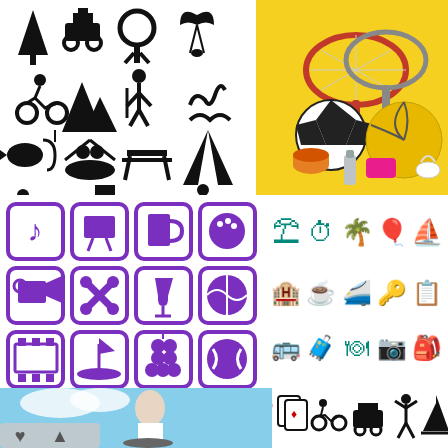[Figure (illustration): Grid of black outdoor/recreation silhouette icons including trees, ATV, grill, parachute, cyclist, mountains, hiker, fishing, kayaking, picnic table, tent, diver, truck, campfire, yoga pose]
[Figure (photo): Sports equipment photo on yellow background: tennis rackets, soccer ball, volleyball, yoga mat, badminton shuttlecock, water bottle]
[Figure (illustration): Grid of purple square-bordered entertainment/leisure icons: music note, TV, beer mug, bowling ball, movie camera, crossed tools, wine glass, basketball, film strip, golf, grapes, tennis ball, headphones, golf ball, dice, football]
[Figure (illustration): Grid of teal/turquoise travel and leisure icons: beach umbrella, compass, palm trees, hot air balloon, sailboat, hotel, coffee, train, keys, passport, bus, luggage cart, plate/utensils, camera, backpack, car, bicycle, RV/camper, roller skate, tent, bikini, hat, flip flops, toiletries, bag]
[Figure (photo): Photo of woman on motorcycle/scooter outdoors with blue sky, with UI overlay showing heart and up-arrow icons]
[Figure (illustration): Black silhouette icons for leisure/travel: playing cards, cyclist, taxi/car, person with arms raised, sailboat]